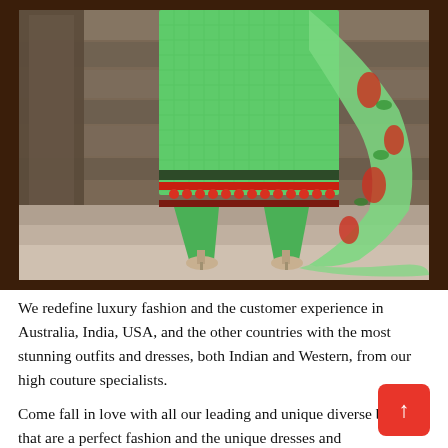[Figure (photo): A woman wearing a green Indian salwar kameez (churidar suit) with red and dark embroidery at the hem, and a flowing green dupatta with red floral print. She is standing on stone steps against a rustic stone wall background. Only the lower body is visible. She is wearing beige heeled sandals.]
We redefine luxury fashion and the customer experience in Australia, India, USA, and the other countries with the most stunning outfits and dresses, both Indian and Western, from our high couture specialists.
Come fall in love with all our leading and unique diverse brands that are a perfect fashion and the unique dresses and...